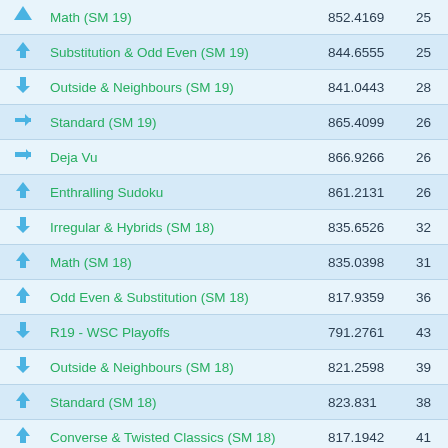|  | Name | Score | Rank |
| --- | --- | --- | --- |
| ↑ | Math (SM 19) | 852.4169 | 25 |
| ↑ | Substitution & Odd Even (SM 19) | 844.6555 | 25 |
| ↓ | Outside & Neighbours (SM 19) | 841.0443 | 28 |
| → | Standard (SM 19) | 865.4099 | 26 |
| → | Deja Vu | 866.9266 | 26 |
| ↑ | Enthralling Sudoku | 861.2131 | 26 |
| ↓ | Irregular & Hybrids (SM 18) | 835.6526 | 32 |
| ↑ | Math (SM 18) | 835.0398 | 31 |
| ↑ | Odd Even & Substitution (SM 18) | 817.9359 | 36 |
| ↓ | R19 - WSC Playoffs | 791.2761 | 43 |
| ↓ | Outside & Neighbours (SM 18) | 821.2598 | 39 |
| ↑ | Standard (SM 18) | 823.831 | 38 |
| ↑ | Converse & Twisted Classics (SM 18) | 817.1942 | 41 |
| ↑ | Irregular & Converse (SM 16/17) | 800.691 | 42 |
| ↓ | Outside & Math (SM 16/17) | 801.9781 | 44 |
| ↓ | Odd Even & Twisted Classics (SM 16/17) | 799.1619 | 42 |
| ↓ | Standard & Neighbours (SM 16/17) | 801.375 | 40 |
| ↓ | Wacky Slovak Classics | 833.336 | 28 |
| ↑ | Nuevo Cinema Sudoku | 852.9982 | 27 |